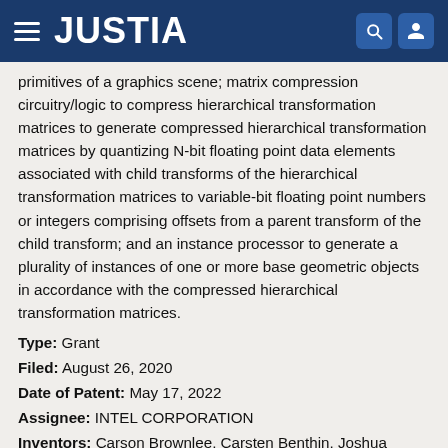JUSTIA
primitives of a graphics scene; matrix compression circuitry/logic to compress hierarchical transformation matrices to generate compressed hierarchical transformation matrices by quantizing N-bit floating point data elements associated with child transforms of the hierarchical transformation matrices to variable-bit floating point numbers or integers comprising offsets from a parent transform of the child transform; and an instance processor to generate a plurality of instances of one or more base geometric objects in accordance with the compressed hierarchical transformation matrices.
Type: Grant
Filed: August 26, 2020
Date of Patent: May 17, 2022
Assignee: INTEL CORPORATION
Inventors: Carson Brownlee, Carsten Benthin, Joshua